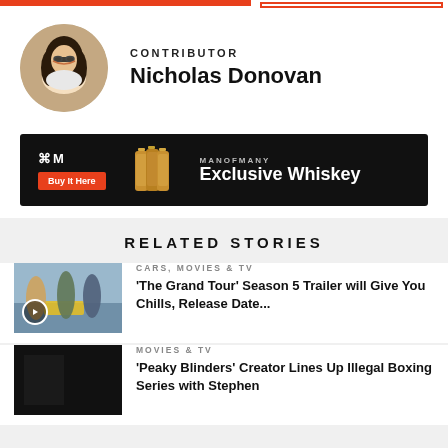CONTRIBUTOR
Nicholas Donovan
[Figure (photo): Circular avatar photo of Nicholas Donovan, a man with glasses and long dark hair, smiling]
[Figure (infographic): Man of Many Exclusive Whiskey advertisement banner with logo, Buy It Here button, whiskey bottles, and product text]
RELATED STORIES
[Figure (photo): Thumbnail image of three people in winter gear standing in a snowy landscape with a yellow car, with a play button overlay. Category: CARS, MOVIES & TV]
CARS, MOVIES & TV
'The Grand Tour' Season 5 Trailer will Give You Chills, Release Date...
[Figure (photo): Dark/black thumbnail image for Peaky Blinders article. Category: MOVIES & TV]
MOVIES & TV
'Peaky Blinders' Creator Lines Up Illegal Boxing Series with Stephen